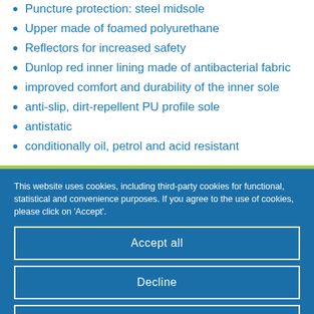Puncture protection: steel midsole
Upper made of foamed polyurethane
Reflectors for increased safety
Dunlop red inner lining made of antibacterial fabric
improved comfort and durability of the inner sole
anti-slip, dirt-repellent PU profile sole
antistatic
conditionally oil, petrol and acid resistant
This website uses cookies, including third-party cookies for functional, statistical and convenience purposes. If you agree to the use of cookies, please click on 'Accept'.
Accept all
Decline
Privacy Policy